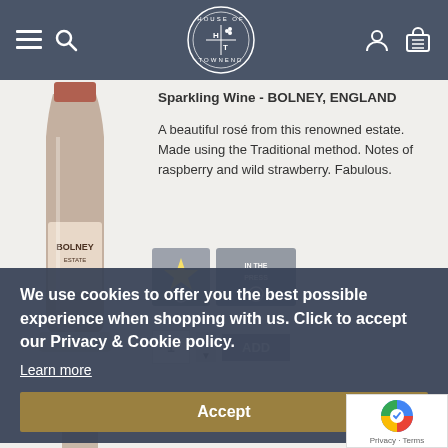[Figure (screenshot): Navigation bar with hamburger menu, search icon, House of Townend circular logo in center, user account icon and shopping basket icon on the right. Dark slate-blue background.]
Sparkling Wine - BOLNEY, ENGLAND
A beautiful rosé from this renowned estate. Made using the Traditional method. Notes of raspberry and wild strawberry. Fabulous.
[Figure (photo): Bolney wine bottle (sparkling rosé) on white/grey background]
We use cookies to offer you the best possible experience when shopping with us. Click to accept our Privacy & Cookie policy.
Learn more
Accept
Bolney Estate Lychgate